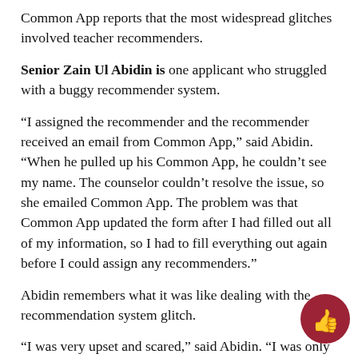Common App reports that the most widespread glitches involved teacher recommenders.
Senior Zain Ul Abidin is one applicant who struggled with a buggy recommender system.
“I assigned the recommender and the recommender received an email from Common App,” said Abidin. “When he pulled up his Common App, he couldn’t see my name. The counselor couldn’t resolve the issue, so she emailed Common App. The problem was that Common App updated the form after I had filled out all of my information, so I had to fill everything out again before I could assign any recommenders.”
Abidin remembers what it was like dealing with the recommendation system glitch.
“I was very upset and scared,” said Abidin. “I was only applying to one college, so I wanted to be prepared. I filled out everything two w… early. That was the first time in my life I had ever been fully pre… for something school related. The glitch happened right before my…